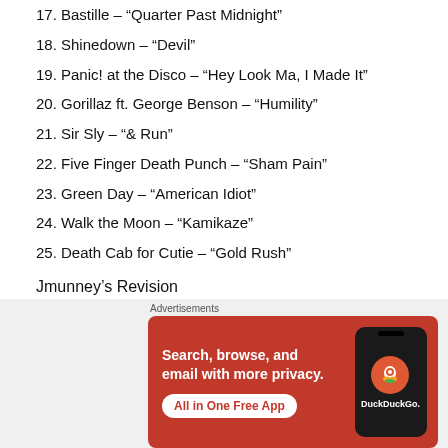17. Bastille – “Quarter Past Midnight”
18. Shinedown – “Devil”
19. Panic! at the Disco – “Hey Look Ma, I Made It”
20. Gorillaz ft. George Benson – “Humility”
21. Sir Sly – “& Run”
22. Five Finger Death Punch – “Sham Pain”
23. Green Day – “American Idiot”
24. Walk the Moon – “Kamikaze”
25. Death Cab for Cutie – “Gold Rush”
Jmunney’s Revision
1.  American Idiot
[Figure (screenshot): DuckDuckGo advertisement banner: orange background with text 'Search, browse, and email with more privacy. All in One Free App' and an image of a phone with DuckDuckGo logo]